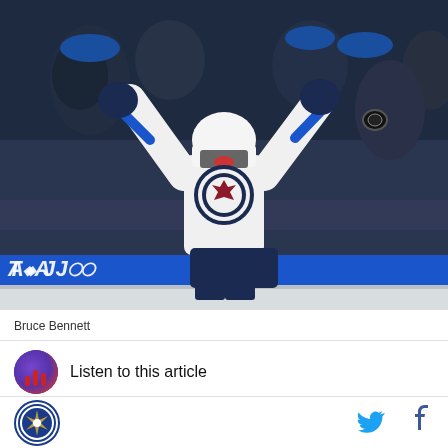[Figure (photo): A Winnipeg Jets hockey player in a white jersey celebrating with arms raised, in front of a crowd behind the glass at an NHL arena. The player is wearing a white helmet and the Jets logo is visible on the jersey.]
Bruce Bennett
Listen to this article
[Figure (logo): Winnipeg Jets circular site logo in blue/navy with gold ring border]
[Figure (other): Twitter bird icon in blue]
[Figure (other): Facebook 'f' icon in dark blue]